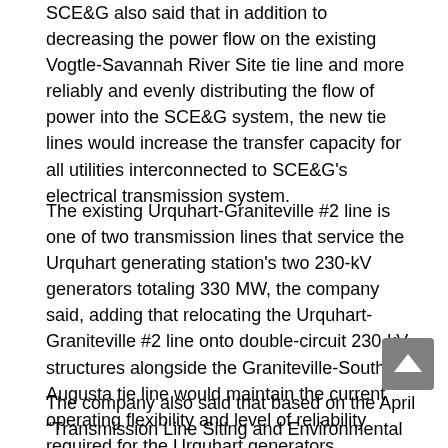SCE&G also said that in addition to decreasing the power flow on the existing Vogtle-Savannah River Site tie line and more reliably and evenly distributing the flow of power into the SCE&G system, the new tie lines would increase the transfer capacity for all utilities interconnected to SCE&G's electrical transmission system.
The existing Urquhart-Graniteville #2 line is one of two transmission lines that service the Urquhart generating station's two 230-kV generators totaling 330 MW, the company said, adding that relocating the Urquhart-Graniteville #2 line onto double-circuit 230-kV structures alongside the Graniteville-South Augusta tie line would maintain the current operating flexibility and level of reliability required for the Urquhart generators.
The company also said that based on the April "Transmission Line Siting and Environmental Report for the Graniteville-South Augusta" tie line and Urquhart-